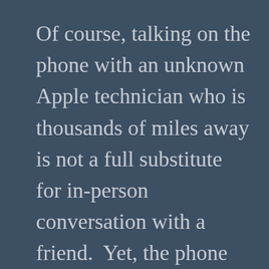Of course, talking on the phone with an unknown Apple technician who is thousands of miles away is not a full substitute for in-person conversation with a friend.  Yet, the phone conversation with the Apple posse from the Help Desk was pleasant.  I was both